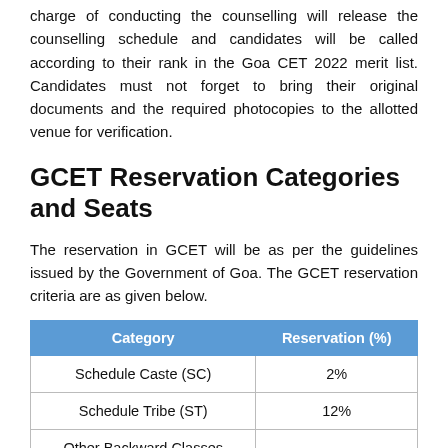charge of conducting the counselling will release the counselling schedule and candidates will be called according to their rank in the Goa CET 2022 merit list. Candidates must not forget to bring their original documents and the required photocopies to the allotted venue for verification.
GCET Reservation Categories and Seats
The reservation in GCET will be as per the guidelines issued by the Government of Goa. The GCET reservation criteria are as given below.
| Category | Reservation (%) |
| --- | --- |
| Schedule Caste (SC) | 2% |
| Schedule Tribe (ST) | 12% |
| Other Backward Classes (OBC) | 27% |
| Physically Handicapped (PH) | 3% |
| Freedom Fighter (FF) | 1% |